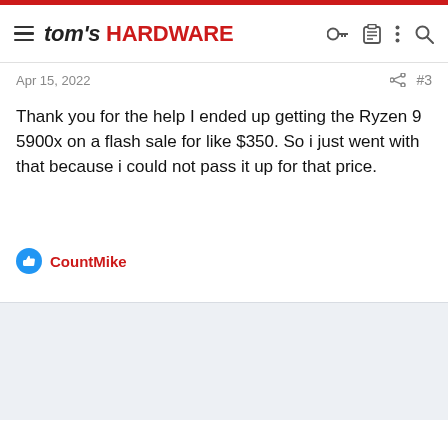tom's HARDWARE
Apr 15, 2022
Thank you for the help I ended up getting the Ryzen 9 5900x on a flash sale for like $350. So i just went with that because i could not pass it up for that price.
CountMike